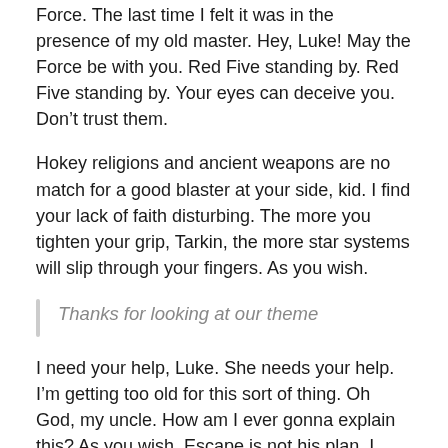Force. The last time I felt it was in the presence of my old master. Hey, Luke! May the Force be with you. Red Five standing by. Red Five standing by. Your eyes can deceive you. Don’t trust them.
Hokey religions and ancient weapons are no match for a good blaster at your side, kid. I find your lack of faith disturbing. The more you tighten your grip, Tarkin, the more star systems will slip through your fingers. As you wish.
Thanks for looking at our theme
I need your help, Luke. She needs your help. I’m getting too old for this sort of thing. Oh God, my uncle. How am I ever gonna explain this? As you wish. Escape is not his plan. I must face him, alone. You mean it controls your actions?